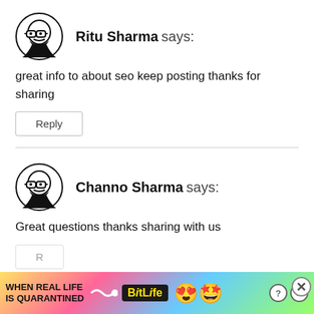[Figure (illustration): Avatar icon of a bearded man with glasses, black line art]
Ritu Sharma says:
great info to about seo keep posting thanks for sharing
Reply
[Figure (illustration): Avatar icon of a bearded man with glasses, black line art]
Channo Sharma says:
Great questions thanks sharing with us
[Figure (screenshot): Advertisement banner: WHEN REAL LIFE IS QUARANTINED - BitLife game ad with colorful background]